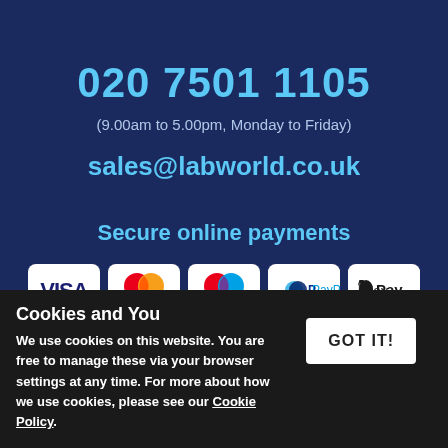020 7501 1105
(9.00am to 5.00pm, Monday to Friday)
sales@labworld.co.uk
Secure online payments
[Figure (other): Payment method logos: VISA, Mastercard, Maestro, PayPal, Apple Pay]
100% secure payments online and by phone. We
Cookies and You
We use cookies on this website. You are free to manage these via your browser settings at any time. For more about how we use cookies, please see our Cookie Policy.
GOT IT!